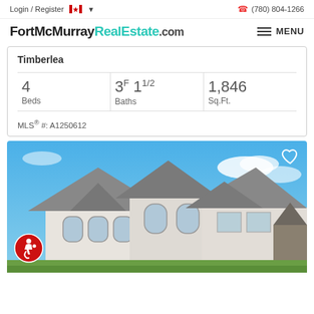Login / Register  (780) 804-1266
FortMcMurrayRealEstate.com
MENU
Timberlea
| Beds | Baths | Sq.Ft. |
| --- | --- | --- |
| 4 | 3F 1 1/2 | 1,846 |
MLS® #: A1250612
[Figure (photo): Exterior photo of a large two-storey residential home with stucco finish, arched windows, multiple gabled rooflines, and stone accents under a blue sky. A heart/favorite button appears in the top-right corner and an accessibility icon in the bottom-left.]